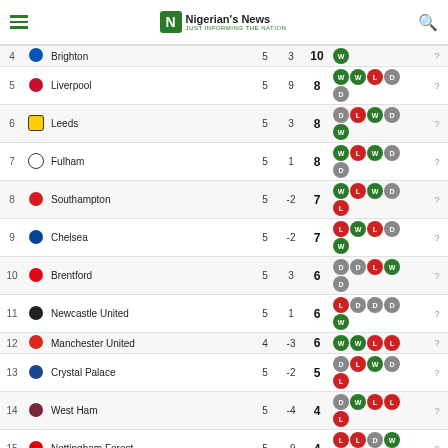Nigerian's News — JUST INFORMING THE NATION
| # | Club | GD | Pts | Form |  |
| --- | --- | --- | --- | --- | --- |
| 4 | Brighton | 5 | 3 | 10 | W | ? |
| 5 | Liverpool | 5 | 9 | 8 | WWLDTD | ? |
| 6 | Leeds | 5 | 3 | 8 | DLWDW | ? |
| 7 | Fulham | 5 | 1 | 8 | WLWDD | ? |
| 8 | Southampton | 5 | -2 | 7 | WLWDL | ? |
| 9 | Chelsea | 5 | -2 | 7 | LWLDTW | ? |
| 10 | Brentford | 5 | 3 | 6 | DDLWD | ? |
| 11 | Newcastle United | 5 | 1 | 6 | LDDDW | ? |
| 12 | Manchester United | 4 | -3 | 6 | WWLL | ? |
| 13 | Crystal Palace | 5 | -2 | 5 | DLWDL | ? |
| 14 | West Ham | 5 | -4 | 4 | DWLLL | ? |
| 15 | Nottingham Forest | 5 | -9 | 4 | LLDWL | ? |
| 16 | Bournemouth | 5 | -14 | 4 | DLLLW | ? |
| 17 | Everton | 5 | -2 | 3 | DDDLL | ? |
| 18 | Wolverhampton Wanderers | 5 | -2 | 3 | DDLDD | ? |